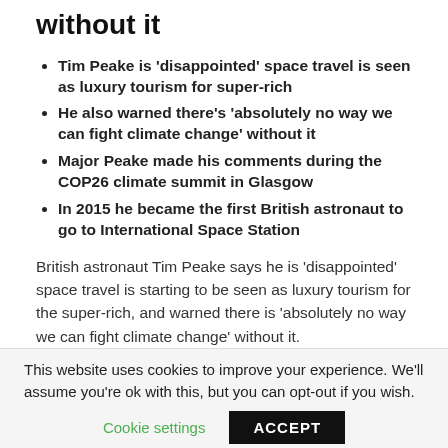without it
Tim Peake is 'disappointed' space travel is seen as luxury tourism for super-rich
He also warned there's 'absolutely no way we can fight climate change' without it
Major Peake made his comments during the COP26 climate summit in Glasgow
In 2015 he became the first British astronaut to go to International Space Station
British astronaut Tim Peake says he is 'disappointed' space travel is starting to be seen as luxury tourism for the super-rich, and warned there is 'absolutely no way we can fight climate change' without it.
Major Peake was speaking at the COP26 climate summit
This website uses cookies to improve your experience. We'll assume you're ok with this, but you can opt-out if you wish.